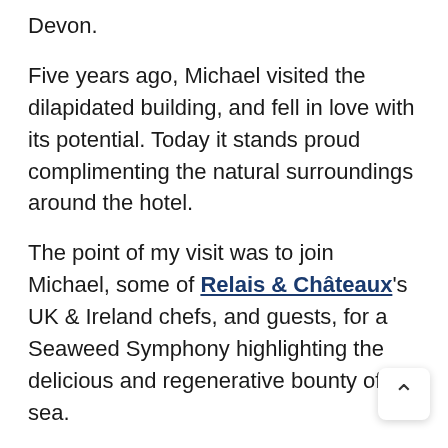Devon.
Five years ago, Michael visited the dilapidated building, and fell in love with its potential. Today it stands proud complimenting the natural surroundings around the hotel.
The point of my visit was to join Michael, some of Relais & Châteaux's UK & Ireland chefs, and guests, for a Seaweed Symphony highlighting the delicious and regenerative bounty of the sea.
Getting to Lympstone Manor Devon
I took a taxi from Exeter St Davids – one of three main train stations in what looked to me to be a small city. I found myself being driven into the grounds of the property in about 20 minutes and